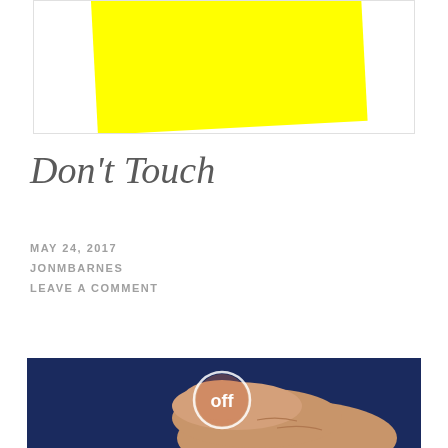[Figure (photo): Yellow sticky note on white background, slightly rotated]
Don't Touch
MAY 24, 2017
JONMBARNES
LEAVE A COMMENT
[Figure (photo): Hand with finger pressing a glowing circular off button on dark blue background]